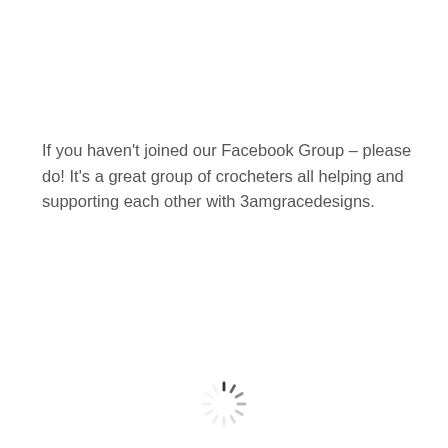If you haven't joined our Facebook Group – please do! It's a great group of crocheters all helping and supporting each other with 3amgracedesigns.
[Figure (other): A loading spinner icon (circular dashed spinner) centered near the bottom of the page.]